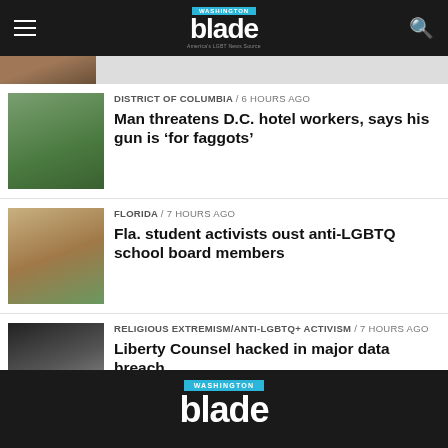Washington Blade - navigation bar with logo
[Figure (photo): Partial thumbnail image strip at top]
DISTRICT OF COLUMBIA / 6 hours ago
Man threatens D.C. hotel workers, says his gun is 'for faggots'
FLORIDA / 7 hours ago
Fla. student activists oust anti-LGBTQ school board members
RELIGIOUS EXTREMISM/ANTI-LGBTQ+ ACTIVISM / 7 hours ago
Liberty Counsel hacked in major data breach
Washington Blade - footer logo